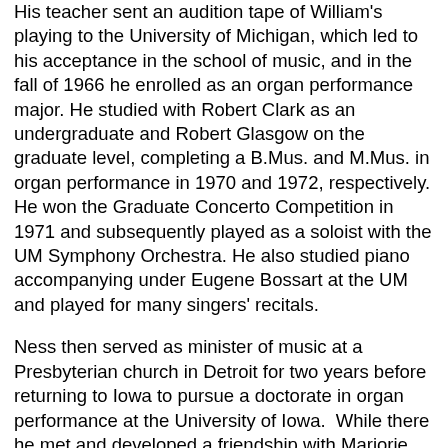His teacher sent an audition tape of William's playing to the University of Michigan, which led to his acceptance in the school of music, and in the fall of 1966 he enrolled as an organ performance major. He studied with Robert Clark as an undergraduate and Robert Glasgow on the graduate level, completing a B.Mus. and M.Mus. in organ performance in 1970 and 1972, respectively. He won the Graduate Concerto Competition in 1971 and subsequently played as a soloist with the UM Symphony Orchestra. He also studied piano accompanying under Eugene Bossart at the UM and played for many singers' recitals.
Ness then served as minister of music at a Presbyterian church in Detroit for two years before returning to Iowa to pursue a doctorate in organ performance at the University of Iowa.  While there he met and developed a friendship with Marjorie Gile, also a doctoral student in organ. They married during the Labor Day weekend in the fall of 1976, shortly after she joined the Seventh-day Adventist Church.
They interrupted their doctoral studies in 1979 when she took a one-semester position at University of Wyoming in Laramie the first of January and William accepted an interim position in March at Andrews University, where he taught and was organist at the Pioneer Memorial Church on campus, serving as the replacement for C. Warren Becker.